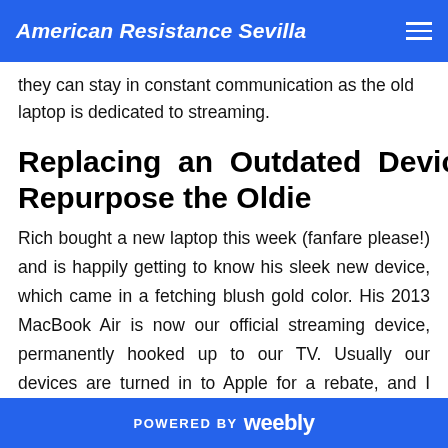American Resistance Sevilla
they can stay in constant communication as the old laptop is dedicated to streaming.
Replacing an Outdated Device? Repurpose the Oldie
Rich bought a new laptop this week (fanfare please!) and is happily getting to know his sleek new device, which came in a fetching blush gold color. His 2013 MacBook Air is now our official streaming device, permanently hooked up to our TV. Usually our devices are turned in to Apple for a rebate, and I thought this was common practice until I
POWERED BY weebly